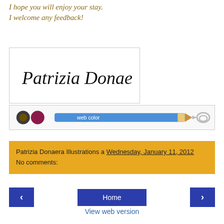I hope you will enjoy your stay.
I welcome any feedback!
[Figure (illustration): Handwritten signature reading 'Patrizia Donaera' in a white bordered box]
[Figure (illustration): A pencil and paperclip decorative bar with two small circular icons on the left, a blue pencil labeled 'web color' in the center, and a paperclip on the right]
Patrizia Donaera Illustrations a Wednesday, January 11, 2012
No comments:
Home
View web version
Patrizia Donaera Illustrations
Savona, SV, Italy
Patrizia has gathered a 30 years long experience as